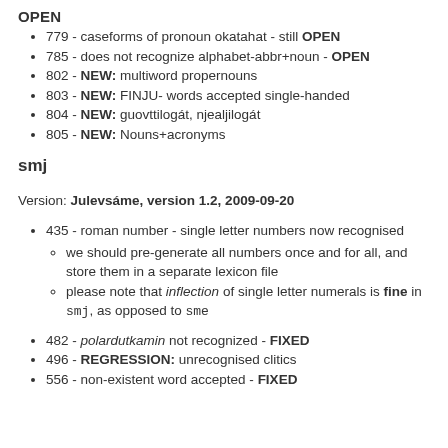OPEN
779 - caseforms of pronoun okatahat - still OPEN
785 - does not recognize alphabet-abbr+noun - OPEN
802 - NEW: multiword propernouns
803 - NEW: FINJU- words accepted single-handed
804 - NEW: guovttilogát, njealjilogát
805 - NEW: Nouns+acronyms
smj
Version: Julevsáme, version 1.2, 2009-09-20
435 - roman number - single letter numbers now recognised
we should pre-generate all numbers once and for all, and store them in a separate lexicon file
please note that inflection of single letter numerals is fine in smj, as opposed to sme
482 - polardutkamin not recognized - FIXED
496 - REGRESSION: unrecognised clitics
556 - non-existent word accepted - FIXED